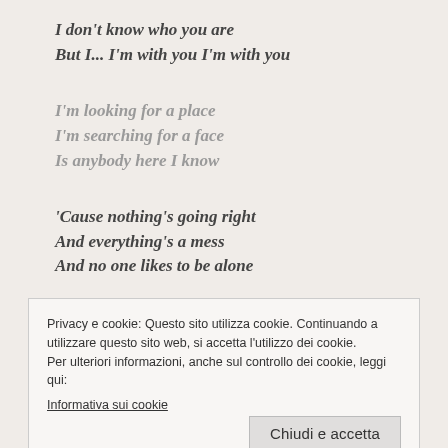I don't know who you are
But I... I'm with you I'm with you
I'm looking for a place
I'm searching for a face
Is anybody here I know
'Cause nothing's going right
And everything's a mess
And no one likes to be alone
Privacy e cookie: Questo sito utilizza cookie. Continuando a utilizzare questo sito web, si accetta l'utilizzo dei cookie.
Per ulteriori informazioni, anche sul controllo dei cookie, leggi qui:
Informativa sui cookie
Chiudi e accetta
Won't somebody come take me home?